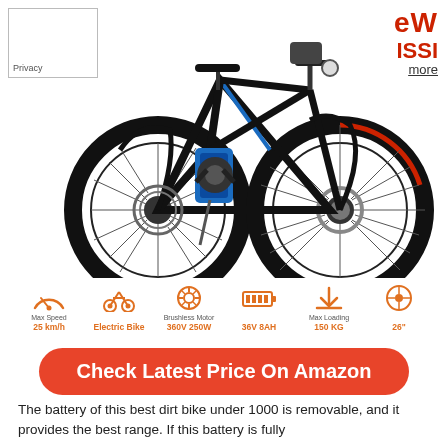[Figure (photo): Electric folding mountain bike, black with blue accents, shown at angle with large wheels visible]
Privacy
eW
ISSI
more
[Figure (infographic): Specs bar: Max Speed 25 km/h, Electric Bike, Brushless Motor 360V 250W, 36V 8AH, Max Loading 150 KG, 26 inch wheel]
Check Latest Price On Amazon
The battery of this best dirt bike under 1000 is removable, and it provides the best range. If this battery is fully